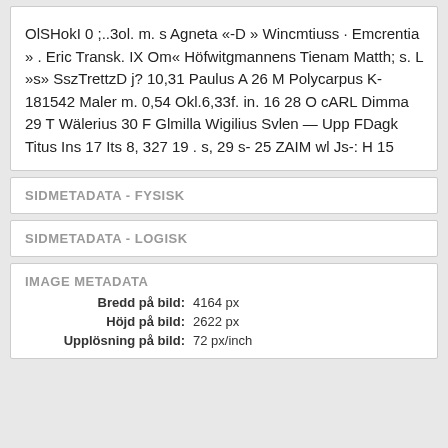OlSHokI 0 ;..3ol. m. s Agneta «-D » Wincmtiuss · Emcrentia » . Eric Transk. IX Om« Höfwitgmannens Tienam Matth; s. L »s» SszTrettzD j? 10,31 Paulus A 26 M Polycarpus K- 181542 Maler m. 0,54 Okl.6,33f. in. 16 28 O cARL Dimma 29 T Wälerius 30 F Glmilla Wigilius Svlen — Upp FDagk Titus Ins 17 Its 8, 327 19 . s, 29 s- 25 ZAIM wl Js-: H 15
SIDMETADATA - FYSISK
SIDMETADATA - LOGISK
IMAGE METADATA
Bredd på bild: 4164 px
Höjd på bild: 2622 px
Upplösning på bild: 72 px/inch